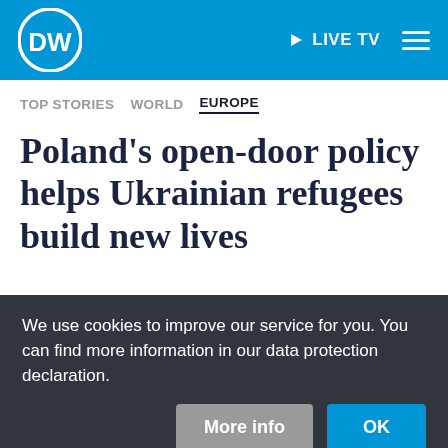[Figure (logo): DW (Deutsche Welle) circular logo in white on blue background, with LIVE TV label and hamburger menu in navigation bar]
TOP STORIES   WORLD   EUROPE
Poland's open-door policy helps Ukrainian refugees build new lives
We use cookies to improve our service for you. You can find more information in our data protection declaration.
More info   OK